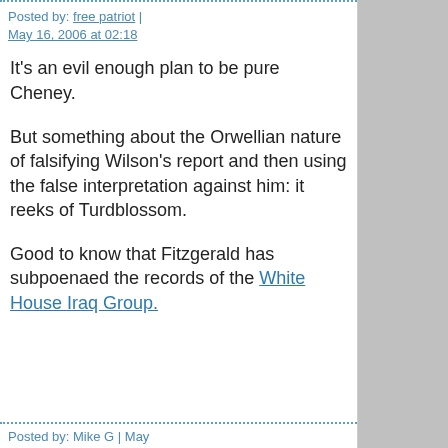Posted by: free patriot | May 16, 2006 at 02:18
It's an evil enough plan to be pure Cheney.
But something about the Orwellian nature of falsifying Wilson's report and then using the false interpretation against him: it reeks of Turdblossom.
Good to know that Fitzgerald has subpoenaed the records of the White House Iraq Group.
Posted by: Mike G | May